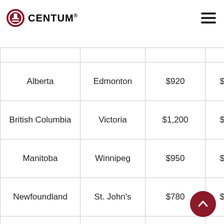CENTUM
| Province | City | 1 bedroom rent/month | Minimum wage |  |
| --- | --- | --- | --- | --- |
| Alberta | Edmonton | $920 | $13.60 | $2… |
| British Columbia | Victoria | $1,200 | $12.65 | $2… |
| Manitoba | Winnipeg | $950 | $11.15 | $2… |
| Newfoundland | St. John's | $780 | $11.15 | $2… |
| Nova Scotia | Halifax | $910 | $11.00 | $2… |
| Ontario | Toronto | $2,080 | $14.00 | $2… |
| Saskatchewan | Regina | $850 | $10.96 | $2… |